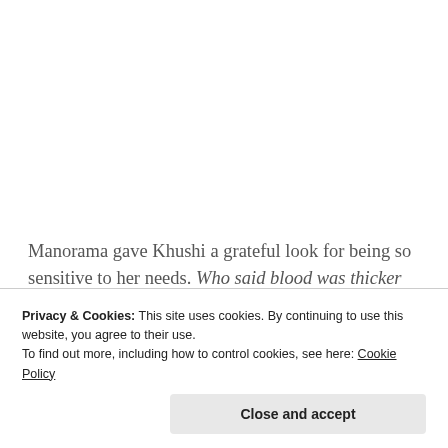Manorama gave Khushi a grateful look for being so sensitive to her needs. Who said blood was thicker than water? She is my daughter, through and through. "It is alright Chellam, if you go out of this lobby, they may not let you back in. I can walk. Let’s find Nandu."
Privacy & Cookies: This site uses cookies. By continuing to use this website, you agree to their use.
To find out more, including how to control cookies, see here: Cookie Policy